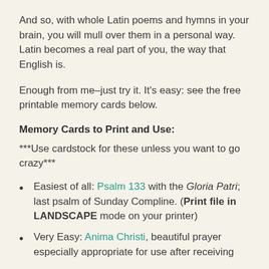And so, with whole Latin poems and hymns in your brain, you will mull over them in a personal way. Latin becomes a real part of you, the way that English is.
Enough from me–just try it. It's easy: see the free printable memory cards below.
Memory Cards to Print and Use:
***Use cardstock for these unless you want to go crazy***
Easiest of all: Psalm 133 with the Gloria Patri; last psalm of Sunday Compline. (Print file in LANDSCAPE mode on your printer)
Very Easy: Anima Christi, beautiful prayer especially appropriate for use after receiving